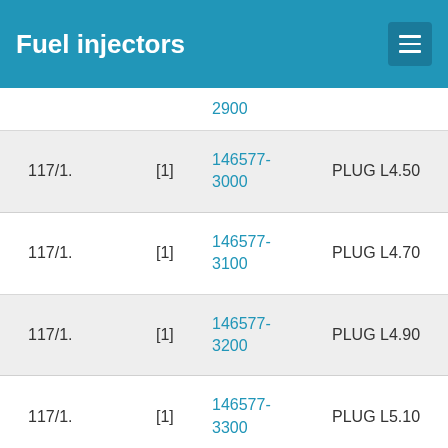Fuel injectors
| Ref | Qty | Part No. | Description |
| --- | --- | --- | --- |
|  |  | 2900 |  |
| 117/1. | [1] | 146577-3000 | PLUG L4.50 |
| 117/1. | [1] | 146577-3100 | PLUG L4.70 |
| 117/1. | [1] | 146577-3200 | PLUG L4.90 |
| 117/1. | [1] | 146577-3300 | PLUG L5.10 |
| 117/1. | [1] | 146577-6700 | PLUG L2.2 |
| 117/1. | [1] | 146577- | PLUG L2.4 |